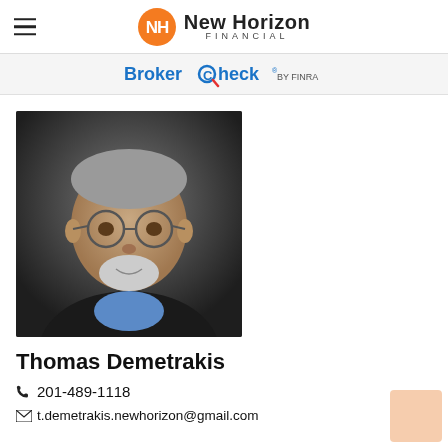New Horizon Financial
[Figure (logo): BrokerCheck by FINRA logo/banner]
[Figure (photo): Professional headshot of Thomas Demetrakis, older man with gray hair, glasses, beard, wearing blue shirt and dark jacket]
Thomas Demetrakis
201-489-1118
t.demetrakis.newhorizon@gmail.com